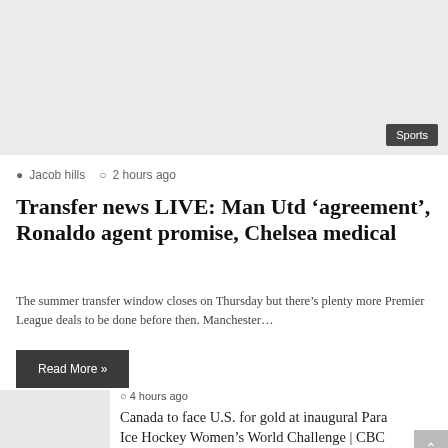[Figure (photo): Hero image placeholder, light gray background with Sports badge in bottom-right corner]
Jacob hills  2 hours ago
Transfer news LIVE: Man Utd ‘agreement’, Ronaldo agent promise, Chelsea medical
The summer transfer window closes on Thursday but there’s plenty more Premier League deals to be done before then. Manchester…
Read More »
[Figure (photo): Small thumbnail image placeholder, light gray]
4 hours ago
Canada to face U.S. for gold at inaugural Para Ice Hockey Women’s World Challenge | CBC Sports